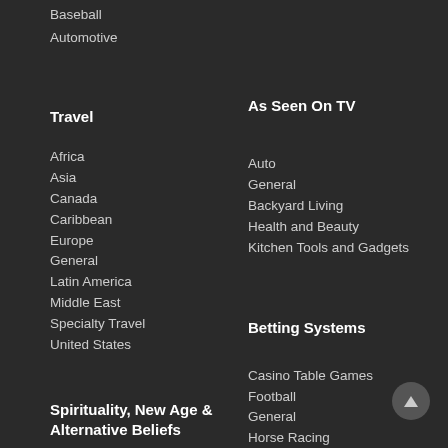Baseball
Automotive
Travel
Africa
Asia
Canada
Caribbean
Europe
General
Latin America
Middle East
Specialty Travel
United States
Spirituality, New Age & Alternative Beliefs
As Seen On TV
Auto
General
Backyard Living
Health and Beauty
Kitchen Tools and Gadgets
Betting Systems
Casino Table Games
Football
General
Horse Racing